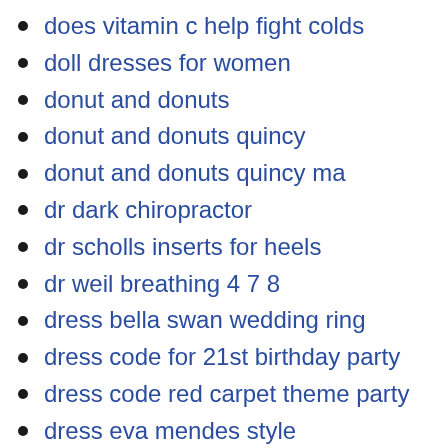does vitamin c help fight colds
doll dresses for women
donut and donuts
donut and donuts quincy
donut and donuts quincy ma
dr dark chiropractor
dr scholls inserts for heels
dr weil breathing 4 7 8
dress bella swan wedding ring
dress code for 21st birthday party
dress code red carpet theme party
dress eva mendes style
dress for 21st birthday
dress for 21st birthday girl
dress for 21st birthday party